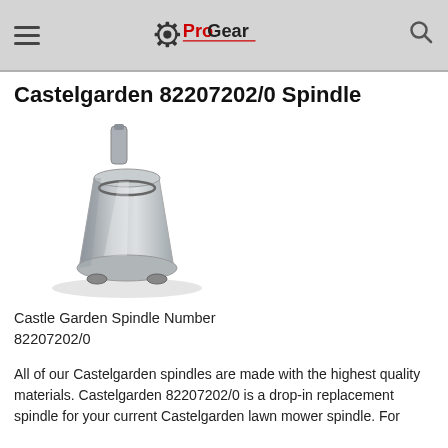Pro Gear (logo, hamburger menu, search icon)
Castelgarden 82207202/0 Spindle
[Figure (photo): Photo of a metal lawn mower spindle assembly (Castelgarden 82207202/0), silver/chrome finish, conical shape with shaft protruding from top and mounting tabs at bottom.]
Castle Garden Spindle Number 82207202/0
All of our Castelgarden spindles are made with the highest quality materials. Castelgarden 82207202/0 is a drop-in replacement spindle for your current Castelgarden lawn mower spindle. For